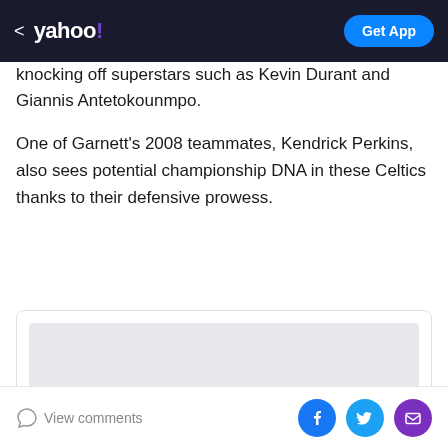< yahoo! | Get App
knocking off superstars such as Kevin Durant and Giannis Antetokounmpo.
One of Garnett's 2008 teammates, Kendrick Perkins, also sees potential championship DNA in these Celtics thanks to their defensive prowess.
[Figure (screenshot): Embedded article card with gray image placeholder and two gray loading bars below]
View comments | Facebook | Twitter | Email share buttons